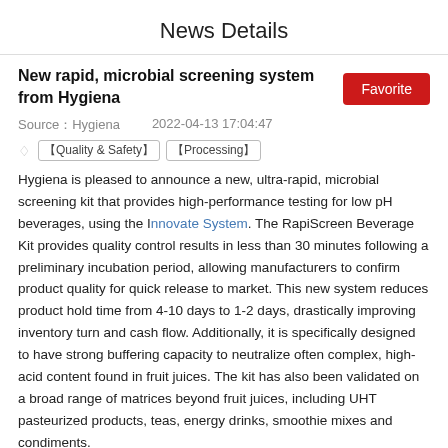News Details
New rapid, microbial screening system from Hygiena
Source：Hygiena   2022-04-13 17:04:47
♢  【Quality & Safety】 【Processing】
Hygiena is pleased to announce a new, ultra-rapid, microbial screening kit that provides high-performance testing for low pH beverages, using the Innovate System. The RapiScreen Beverage Kit provides quality control results in less than 30 minutes following a preliminary incubation period, allowing manufacturers to confirm product quality for quick release to market. This new system reduces product hold time from 4-10 days to 1-2 days, drastically improving inventory turn and cash flow. Additionally, it is specifically designed to have strong buffering capacity to neutralize often complex, high-acid content found in fruit juices. The kit has also been validated on a broad range of matrices beyond fruit juices, including UHT pasteurized products, teas, energy drinks, smoothie mixes and condiments.
When it comes to rapid results, the Innovate System can detect microbial